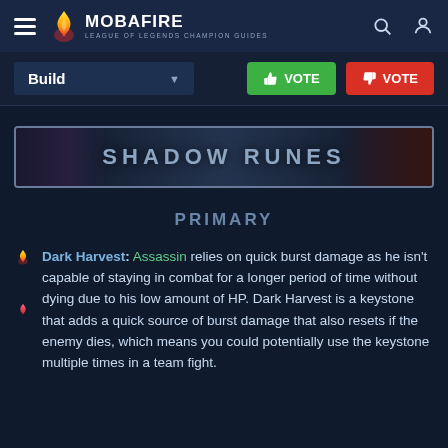MOBAFIRE — LEAGUE OF LEGENDS CHAMPION GUIDES
Build ▼  👍 VOTE  👎 VOTE
[Figure (illustration): Shadow Runes banner with dark fantasy background imagery and centered text 'SHADOW RUNES']
PRIMARY
Dark Harvest: Assassin relies on quick burst damage as he isn't capable of staying in combat for a longer period of time without dying due to his low amount of HP. Dark Harvest is a keystone that adds a quick source of burst damage that also resets if the enemy dies, which means you could potentially use the keystone multiple times in a team fight.